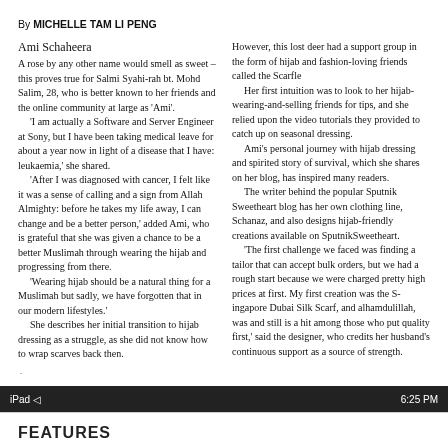By MICHELLE TAM LI PENG
Ami Schaheera
A rose by any other name would smell as sweet – this proves true for Salmi Syahi-rah bt. Mohd Salim, 28, who is better known to her friends and the online community at large as 'Ami'.
	'I am actually a Software and Server Engineer at Sony, but I have been taking medical leave for about a year now in light of a disease that I have: leukaemia,' she shared.
	'After I was diagnosed with cancer, I felt like it was a sense of calling and a sign from Allah Almighty: before he takes my life away, I can change and be a better person,' added Ami, who is grateful that she was given a chance to be a better Muslimah through wearing the hijab and progressing from there.
	'Wearing hijab should be a natural thing for a Muslimah but sadly, we have forgotten that in our modern lifestyles.'
	She describes her initial transition to hijab dressing as a struggle, as she did not know how to wrap scarves back then.
However, this lost deer had a support group in the form of hijab and fashion-loving friends called the Scarfle...
	Her first intuition was to look to her hijab-wearing-and-selling friends for tips, and she relied upon the video tutorials they provided to catch up on seasonal dressing.
	Ami's personal journey with hijab dressing and spirited story of survival, which she shares on her blog, has inspired many readers.
	The writer behind the popular Sputnik Sweetheart blog has her own clothing line, Schanaz, and also designs hijab-friendly creations available on Sputnik SweetHeart.
	'The first challenge we faced was finding a tailor that can accept bulk orders, but we had a rough start because we were charged pretty high prices at first. My first creation was the Singapore Dubai Silk Scarf, and alhamdulillah, was and still is a hit among those who put quality first,' said the designer, who credits her husband's continuous support as a source of strength.
iPad  6:25 PM
FEATURES